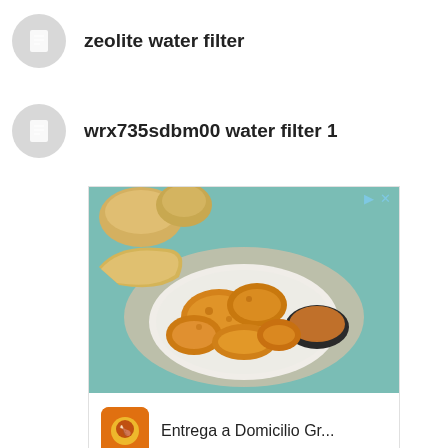zeolite water filter
wrx735sdbm00 water filter 1
[Figure (photo): Advertisement showing fried chicken pieces on a plate with dipping sauce and bread rolls in background. Below the image is an ad logo and text reading 'Entrega a Domicilio Gr...']
x